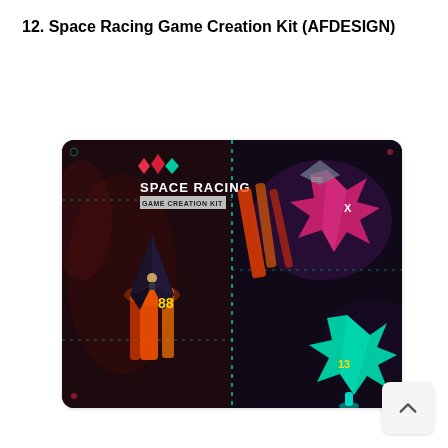12. Space Racing Game Creation Kit (AFDESIGN)
[Figure (screenshot): Screenshot of Space Racing Game Creation Kit by AFDESIGN. Shows a dark space-themed game with colorful spacecraft. Left panel displays the game logo 'SPACE RACING GAME CREATION KIT' with a dark spacecraft numbered 88 shooting orange/red thrust. Right panel shows pink/magenta star-shaped spacecraft and a teal/cyan star-shaped spacecraft numbered 13 with glowing thrust trails. Dotted lines separate panels.]